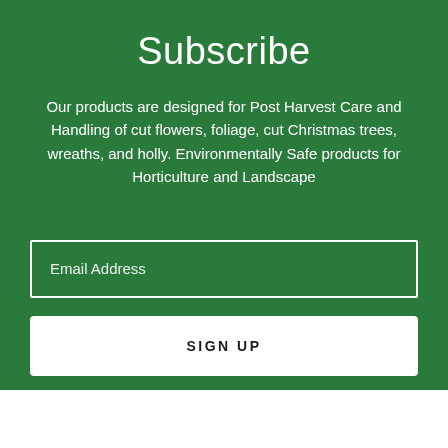Subscribe
Our products are designed for Post Harvest Care and Handling of cut flowers, foliage, cut Christmas trees, wreaths, and holly. Environmentally Safe products for Horticulture and Landscape
Email Address
SIGN UP